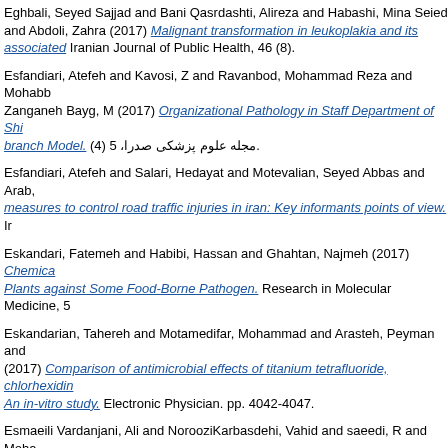Eghbali, Seyed Sajjad and Bani Qasrdashti, Alireza and Habashi, Mina Seied and Abdoli, Zahra (2017) Malignant transformation in leukoplakia and its associated. Iranian Journal of Public Health, 46 (8).
Esfandiari, Atefeh and Kavosi, Z and Ravanbod, Mohammad Reza and Mohabb Zanganeh Bayg, M (2017) Organizational Pathology in Staff Department of Shi branch Model. (4) 5 ،مجله علوم پزشکی صدرا.
Esfandiari, Atefeh and Salari, Hedayat and Motevalian, Seyed Abbas and Arab, measures to control road traffic injuries in iran: Key informants points of view. Ir
Eskandari, Fatemeh and Habibi, Hassan and Ghahtan, Najmeh (2017) Chemica Plants against Some Food-Borne Pathogen. Research in Molecular Medicine, 5
Eskandarian, Tahereh and Motamedifar, Mohammad and Arasteh, Peyman and (2017) Comparison of antimicrobial effects of titanium tetrafluoride, chlorhexidin An in-vitro study. Electronic Physician. pp. 4042-4047.
Esmaeili Vardanjani, Ali and NorooziKarbasdehi, Vahid and saeedi, R and Moha Dobaradaran, Sina (2017) Data on heavy metal levels (Cd, Co, and Cu) in whea brief.
Esmaili, Abdolhamid and Noroozi Karbasdehi, Vahid and Saeedi, Reza and Mob Dobaradaran, Sina (2017) Data on heavy metal levels (Cd, Co, and Cu) in whea Brief, 14. pp. 543-547.
Ewerling, Fernanda and W Lynch, John and G Victora, Cesar and van Eerdewijl (2017) The SWPER index for women's empowerment in Africa: development and Lancet Global Health, 5 (9). e916-e923. ISSN 0140-6736
Fariborzi, Mohammadreza and Hashemi, Seyedeh Masumeh and Salarian, Sam (2017) Association between Red Cell Distribution Width and Mortality in Dedia